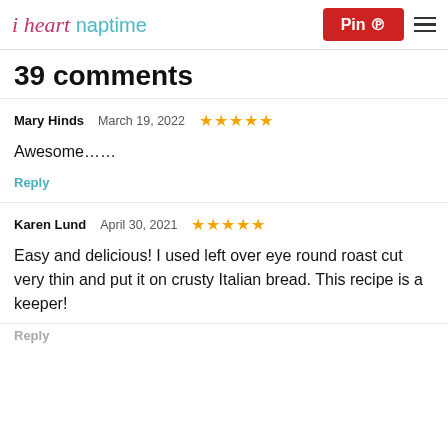i heart naptime | Pin | menu
39 comments
Mary Hinds   March 19, 2022   ★★★★★
Awesome……
Reply
Karen Lund   April 30, 2021   ★★★★★
Easy and delicious! I used left over eye round roast cut very thin and put it on crusty Italian bread. This recipe is a keeper!
Reply